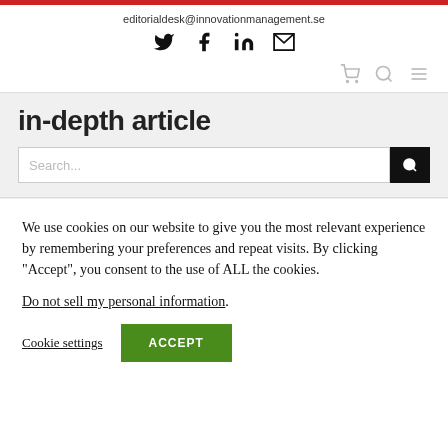editorialdesk@innovationmanagement.se
[Figure (other): Social media icons: Twitter, Facebook, LinkedIn, Email]
[Figure (other): Navigation icons: cart, search, menu]
in-depth article
Search...
We use cookies on our website to give you the most relevant experience by remembering your preferences and repeat visits. By clicking "Accept", you consent to the use of ALL the cookies.
Do not sell my personal information.
Cookie settings  ACCEPT